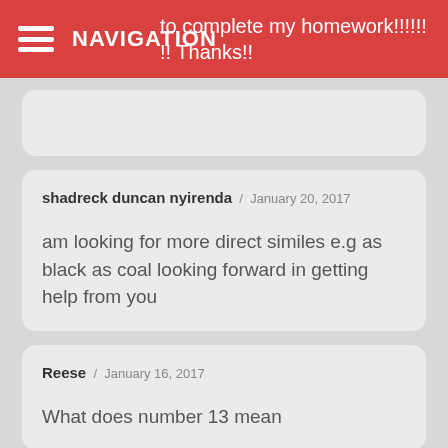NAVIGATION
to complete my homework!!!!!! !! Thanks!!
shadreck duncan nyirenda / January 20, 2017

am looking for more direct similes e.g as black as coal looking forward in getting help from you
Reese / January 16, 2017

What does number 13 mean